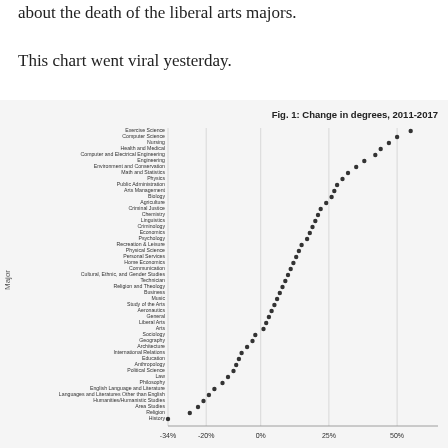about the death of the liberal arts majors.
This chart went viral yesterday.
[Figure (bar-chart): Fig. 1: Change in degrees, 2011-2017]